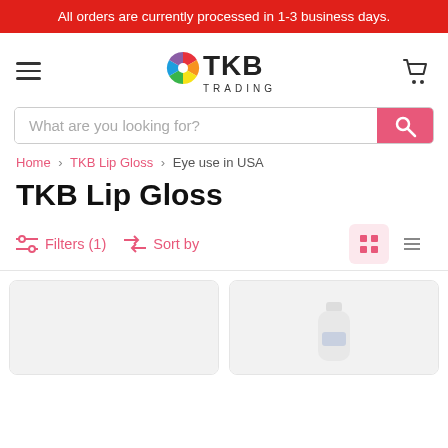All orders are currently processed in 1-3 business days.
[Figure (logo): TKB Trading logo with colorful pinwheel icon and text TKB TRADING]
What are you looking for?
Home > TKB Lip Gloss > Eye use in USA
TKB Lip Gloss
Filters (1)  Sort by
[Figure (photo): Product card 1 - light colored product with gray background]
[Figure (photo): Product card 2 - white bottle product with gray background]